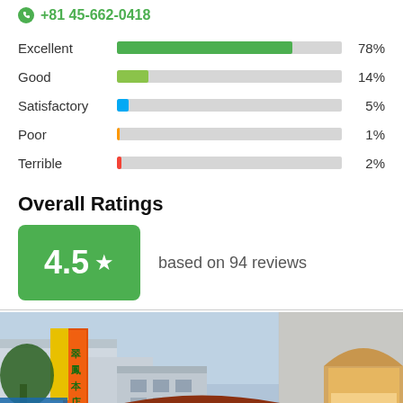+81 45-662-0418
[Figure (bar-chart): Review rating distribution]
Overall Ratings
4.5 ★ based on 94 reviews
[Figure (photo): Exterior photo of a Chinese restaurant in Japan with a traditional gate entrance, red decorative roof tiles, illuminated signage with Chinese characters (翠鳳 本店), and colorful signs. Night/dusk scene.]